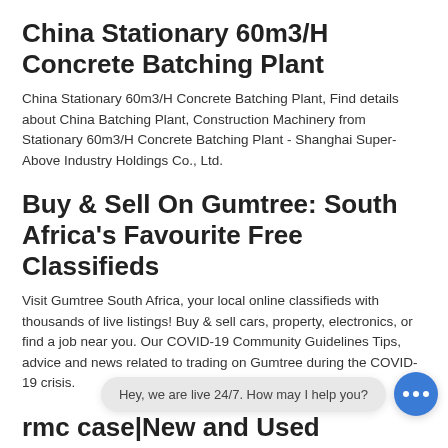China Stationary 60m3/H Concrete Batching Plant
China Stationary 60m3/H Concrete Batching Plant, Find details about China Batching Plant, Construction Machinery from Stationary 60m3/H Concrete Batching Plant - Shanghai Super-Above Industry Holdings Co., Ltd.
Buy & Sell On Gumtree: South Africa's Favourite Free Classifieds
Visit Gumtree South Africa, your local online classifieds with thousands of live listings! Buy & sell cars, property, electronics, or find a job near you. Our COVID-19 Community Guidelines Tips, advice and news related to trading on Gumtree during the COVID-19 crisis.
rmc case|New and Used Concrete Batching P
New and Used Concrete Batching Plant For Sale. We are the